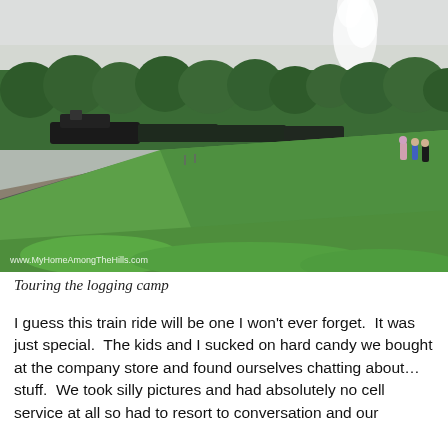[Figure (photo): Outdoor scene at a logging camp on an overcast day. A curved railroad track runs along the left side, with green grassy open field in the center and foreground. A steam locomotive emits white smoke/steam in the upper right area, surrounded by dense green trees in the background. A few people are visible at far right. The sky is grey and cloudy.]
Touring the logging camp
I guess this train ride will be one I won't ever forget.  It was just special.  The kids and I sucked on hard candy we bought at the company store and found ourselves chatting about…stuff.  We took silly pictures and had absolutely no cell service at all so had to resort to conversation and our